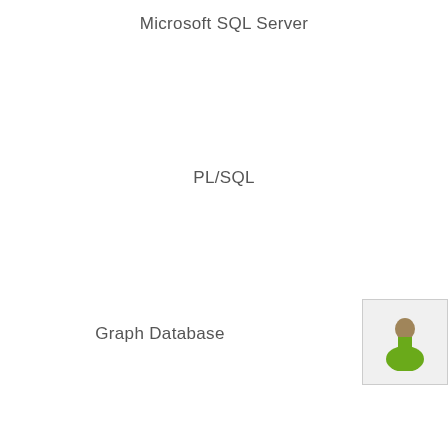Microsoft SQL Server
PL/SQL
Graph Database
[Figure (illustration): Person/user icon: a brown head silhouette above a green shirt/body silhouette, displayed in a light gray box in the bottom-right corner]